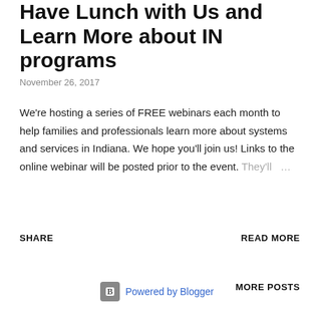Have Lunch with Us and Learn More about IN programs
November 26, 2017
We're hosting a series of FREE webinars each month to help families and professionals learn more about systems and services in Indiana. We hope you'll join us! Links to the online webinar will be posted prior to the event. They'll …
SHARE
READ MORE
MORE POSTS
Powered by Blogger